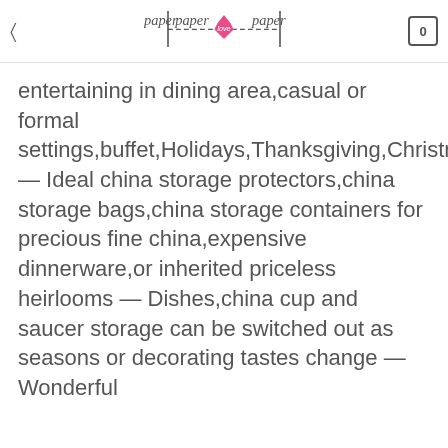paper love paper
entertaining in dining area,casual or formal settings,buffet,Holidays,Thanksgiving,Christmas,etc — Ideal china storage protectors,china storage bags,china storage containers for precious fine china,expensive dinnerware,or inherited priceless heirlooms — Dishes,china cup and saucer storage can be switched out as seasons or decorating tastes change — Wonderful